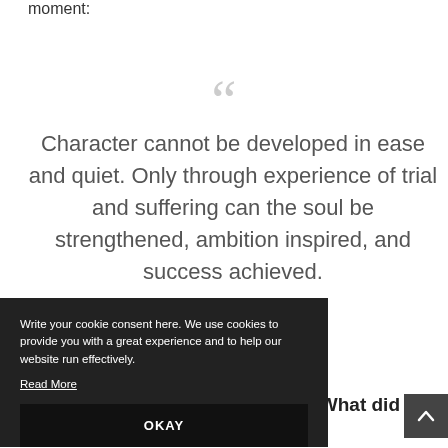moment:
“Character cannot be developed in ease and quiet. Only through experience of trial and suffering can the soul be strengthened, ambition inspired, and success achieved.”
~Helen Keller
Write your cookie consent here. We use cookies to provide you with a great experience and to help our website run effectively. Read More
OKAY
h? What did
you learn?